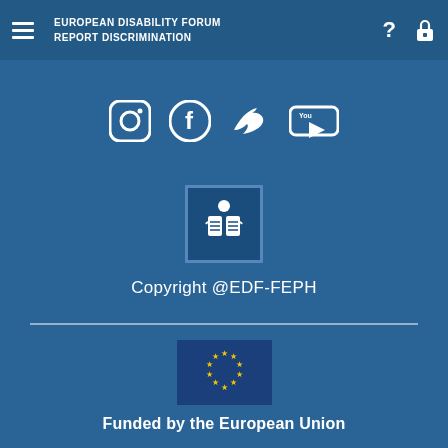EUROPEAN DISABILITY FORUM
REPORT DISCRIMINATION
[Figure (illustration): Social media icons: Instagram, Facebook, Twitter, YouTube]
[Figure (logo): EDF-FEPH logo showing a person reading a book, blue background with border]
Copyright @EDF-FEPH
[Figure (logo): European Union flag logo showing blue background with yellow stars in a circle]
Funded by the European Union